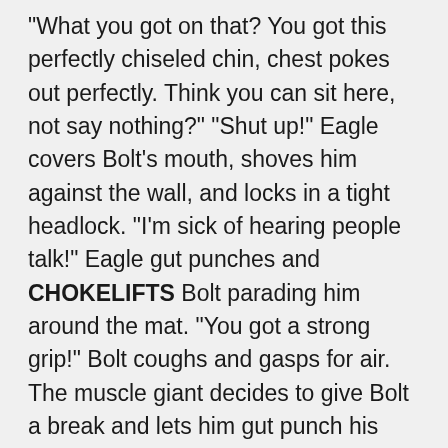"What you got on that? You got this perfectly chiseled chin, chest pokes out perfectly. Think you can sit here, not say nothing?" "Shut up!" Eagle covers Bolt's mouth, shoves him against the wall, and locks in a tight headlock. "I'm sick of hearing people talk!" Eagle gut punches and CHOKELIFTS Bolt parading him around the mat. "You got a strong grip!" Bolt coughs and gasps for air. The muscle giant decides to give Bolt a break and lets him gut punch his chiseled abs!Eagle feels nothing. "Are you Superman?" asks Bolt. "Yep!" The muscle Adonis hammerlocks Bolt and locks in a NECK-BREAKING full nelson. "I think I picked a fight with the wrong guy!" moans Bolt. Eagle flexes his powerful pythons and pats his tree trunk quads. Bolt tries to capitalise on the distraction and does a RUNNING CLOTHESLINE but bounces off